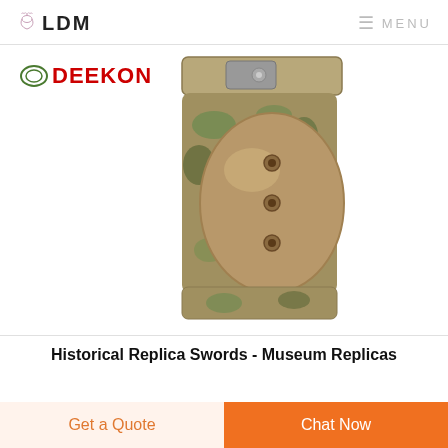LDM   MENU
[Figure (photo): Product photo showing a tactical knee pad with camouflage pattern fabric and tan/beige hard shell cap with ventilation holes. DEEKON brand logo visible in top left of image.]
Historical Replica Swords - Museum Replicas
Get a Quote
Chat Now